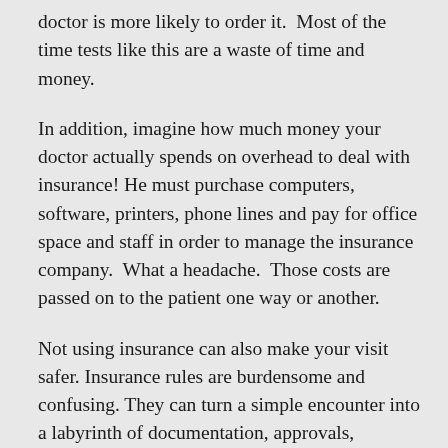doctor is more likely to order it.  Most of the time tests like this are a waste of time and money.
In addition, imagine how much money your doctor actually spends on overhead to deal with insurance!  He must purchase computers, software, printers, phone lines and pay for office space and staff in order to manage the insurance company.  What a headache.  Those costs are passed on to the patient one way or another.
Not using insurance can also make your visit safer.  Insurance rules are burdensome and confusing.  They can turn a simple encounter into a labyrinth of documentation, approvals, unnecessary testing and other distractions that can cause chaos at your doctor's office and more mistakes are likely.